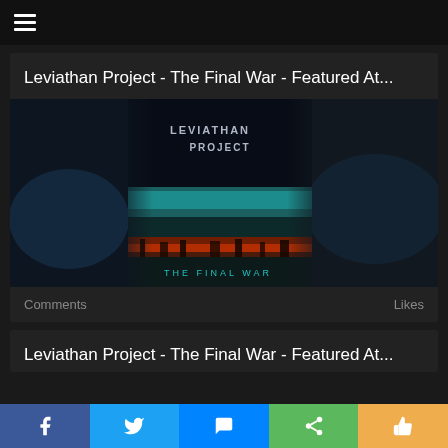≡
Leviathan Project - The Final War - Featured At...
[Figure (photo): Album cover for Leviathan Project - The Final War. Left side shows blurred dark background. Right side shows the album cover art: dark background with 'LEVIATHAN PROJECT' text in silver/gray at top, teal/green atmospheric band in the middle, red-orange desert landscape at bottom, and 'THE FINAL WAR' text in teal at the bottom.]
Comments
Likes
Leviathan Project - The Final War - Featured At...
Facebook  Twitter  Messenger  Share  Like